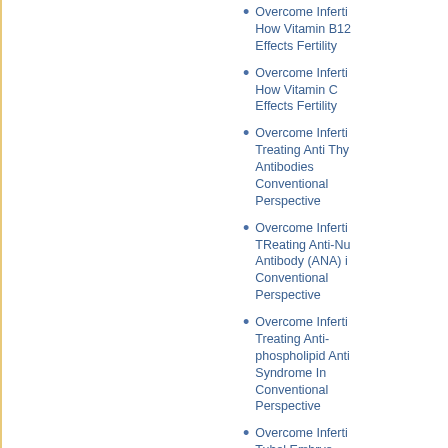Overcome Infertility How Vitamin B12 Effects Fertility
Overcome Infertility How Vitamin C Effects Fertility
Overcome Infertility Treating Anti Thy Antibodies Conventional Perspective
Overcome Infertility TReating Anti-Nu Antibody (ANA) i Conventional Perspective
Overcome Infertility Treating Anti-phospholipid Anti Syndrome In Conventional Perspective
Overcome Infertility Tubal Embryo Transfer (TET) In Conventional